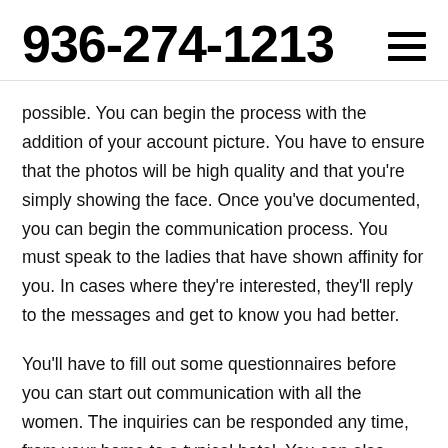936-274-1213
possible. You can begin the process with the addition of your account picture. You have to ensure that the photos will be high quality and that you’re simply showing the face. Once you’ve documented, you can begin the communication process. You must speak to the ladies that have shown affinity for you. In cases where they’re interested, they’ll reply to the messages and get to know you had better.
You’ll have to fill out some questionnaires before you can start out communication with all the women. The inquiries can be responded any time, from your home to a typical hotel. You can also publish a photo of yourself to your profile. It can be necessary that the photo is of top quality, which it just shows your face. Once you’ve accomplished your questionnaire, you can proceed to the next step for the process. If you ant to meet the